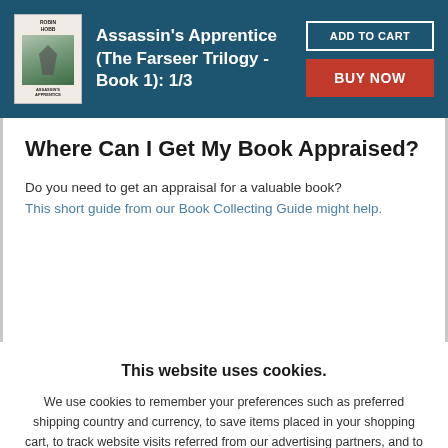Assassin's Apprentice (The Farseer Trilogy - Book 1): 1/3
Where Can I Get My Book Appraised?
Do you need to get an appraisal for a valuable book? This short guide from our Book Collecting Guide might help.
This website uses cookies.
We use cookies to remember your preferences such as preferred shipping country and currency, to save items placed in your shopping cart, to track website visits referred from our advertising partners, and to analyze our website traffic. Manage your privacy settings.
AGREE AND CLOSE